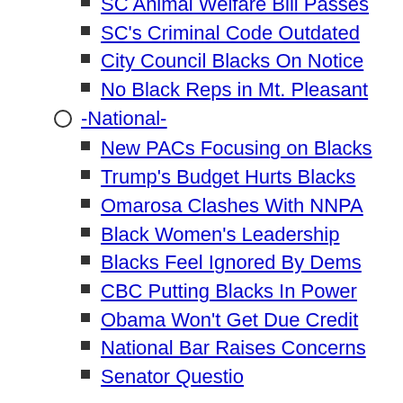SC Animal Welfare Bill Passes
SC's Criminal Code Outdated
City Council Blacks On Notice
No Black Reps in Mt. Pleasant
-National-
New PACs Focusing on Blacks
Trump's Budget Hurts Blacks
Omarosa Clashes With NNPA
Black Women's Leadership
Blacks Feel Ignored By Dems
CBC Putting Blacks In Power
Obama Won't Get Due Credit
National Bar Raises Concerns
Senator Questio...